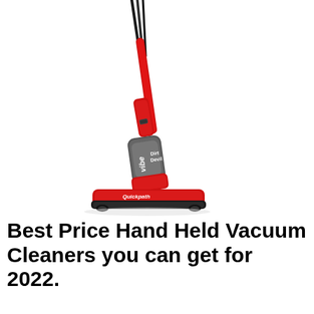[Figure (photo): A red and gray Dirt Devil Vibe upright/stick vacuum cleaner with Quickpath floor head, shown at an angle on white background. The vacuum has a black power cord visible at the top, a red handle, gray dust cup body with 'vibe' and 'Dirt Devil' branding, and a red Quickpath base.]
Best Price Hand Held Vacuum Cleaners you can get for 2022.